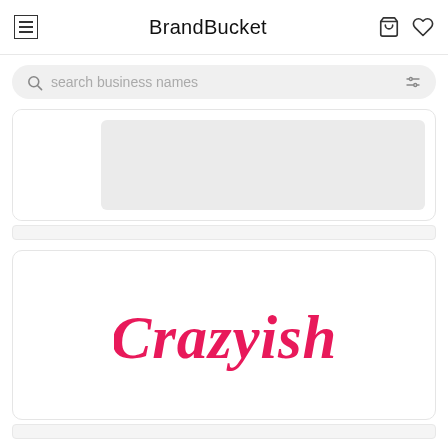BrandBucket
search business names
[Figure (screenshot): Partially visible product card with grey placeholder image area]
[Figure (logo): Crazyish logo in pink cursive script on white card background]
[Figure (screenshot): Partially visible bottom card area]